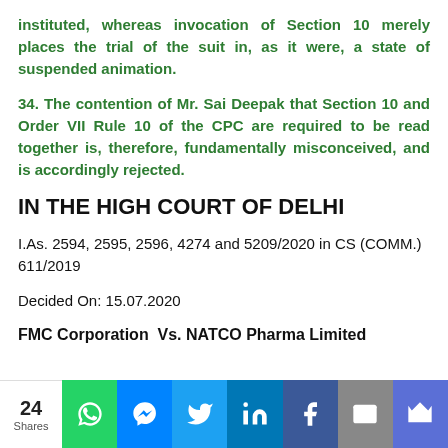instituted, whereas invocation of Section 10 merely places the trial of the suit in, as it were, a state of suspended animation.
34. The contention of Mr. Sai Deepak that Section 10 and Order VII Rule 10 of the CPC are required to be read together is, therefore, fundamentally misconceived, and is accordingly rejected.
IN THE HIGH COURT OF DELHI
I.As. 2594, 2595, 2596, 4274 and 5209/2020 in CS (COMM.) 611/2019
Decided On: 15.07.2020
FMC Corporation  Vs. NATCO Pharma Limited